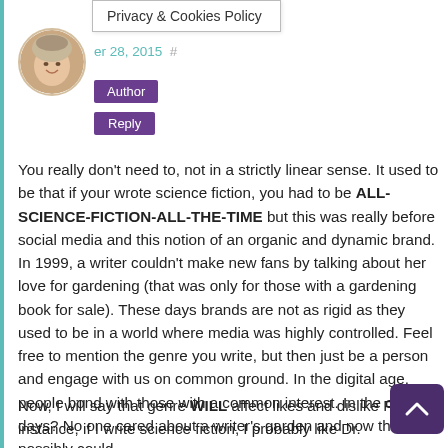Privacy & Cookies Policy
[Figure (photo): Circular avatar photo of a woman with light hair wearing a decorative headpiece, smiling]
er 28, 2015  #
Author
Reply
You really don't need to, not in a strictly linear sense. It used to be that if your wrote science fiction, you had to be ALL-SCIENCE-FICTION-ALL-THE-TIME but this was really before social media and this notion of an organic and dynamic brand. In 1999, a writer couldn't make new fans by talking about her love for gardening (that was only for those with a gardening book for sale). These days brands are not as rigid as they used to be in a world where media was highly controlled. Feel free to mention the genre you write, but then just be a person and engage with us on common ground. In the digital age, people bond with those with a common interest. In the old days? No one cared about a writer's garden and now they possibly could.
Now, I will say that genre WILL affect likes and dislike For instance, if I write science fiction, I probably like Dr.